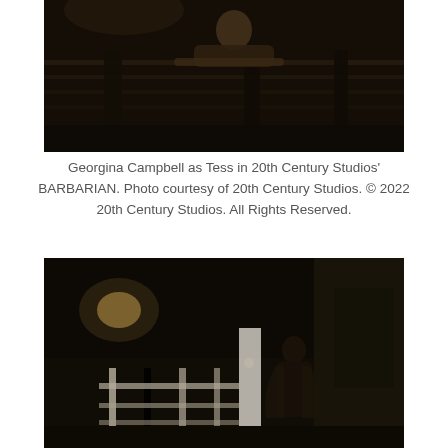[Figure (photo): A dark, moody film still showing a person leaning over what appears to be a railing or staircase in very low light. The scene is nearly black with warm amber tones.]
Georgina Campbell as Tess in 20th Century Studios' BARBARIAN. Photo courtesy of 20th Century Studios. © 2022 20th Century Studios. All Rights Reserved.
[Figure (photo): A dark film still showing a silhouetted figure standing on a porch at night, with a light visible in the background and white porch railings visible.]